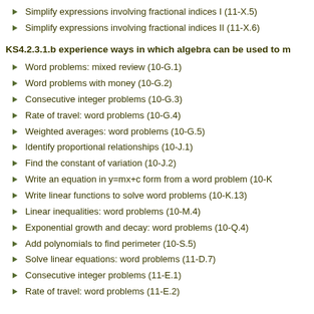Simplify expressions involving fractional indices I (11-X.5)
Simplify expressions involving fractional indices II (11-X.6)
KS4.2.3.1.b experience ways in which algebra can be used to m
Word problems: mixed review (10-G.1)
Word problems with money (10-G.2)
Consecutive integer problems (10-G.3)
Rate of travel: word problems (10-G.4)
Weighted averages: word problems (10-G.5)
Identify proportional relationships (10-J.1)
Find the constant of variation (10-J.2)
Write an equation in y=mx+c form from a word problem (10-K
Write linear functions to solve word problems (10-K.13)
Linear inequalities: word problems (10-M.4)
Exponential growth and decay: word problems (10-Q.4)
Add polynomials to find perimeter (10-S.5)
Solve linear equations: word problems (11-D.7)
Consecutive integer problems (11-E.1)
Rate of travel: word problems (11-E.2)